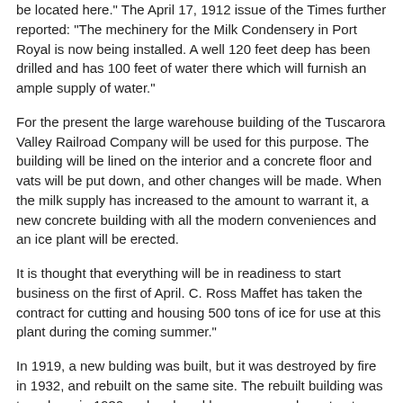be located here." The April 17, 1912 issue of the Times further reported: "The mechinery for the Milk Condensery in Port Royal is now being installed. A well 120 feet deep has been drilled and has 100 feet of water there which will furnish an ample supply of water."
For the present the large warehouse building of the Tuscarora Valley Railroad Company will be used for this purpose. The building will be lined on the interior and a concrete floor and vats will be put down, and other changes will be made. When the milk supply has increased to the amount to warrant it, a new concrete building with all the modern conveniences and an ice plant will be erected.
It is thought that everything will be in readiness to start business on the first of April. C. Ross Maffet has taken the contract for cutting and housing 500 tons of ice for use at this plant during the coming summer."
In 1919, a new bulding was built, but it was destroyed by fire in 1932, and rebuilt on the same site. The rebuilt building was torn down in 1939 and replaced by a more modern structure.
Eventually, in 1964, the operation was transferred to Millerstown and the Port Royal Creamery was closed.
The following note appeared in the July 15 1964 edition of the Port Royal Times: "After more than 50 years of continuous